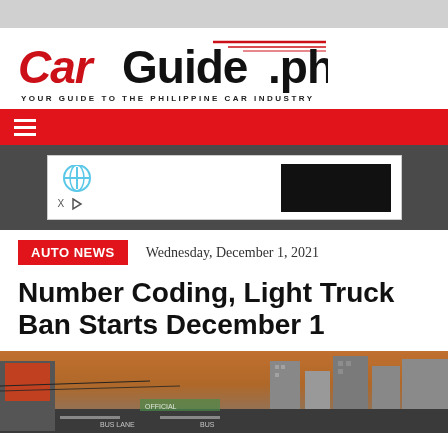[Figure (logo): CarGuide.ph logo — 'Car' in red italic, 'Guide.ph' in black bold, with red speed lines above; tagline: YOUR GUIDE TO THE PHILIPPINE CAR INDUSTRY]
AUTO NEWS   Wednesday, December 1, 2021
Number Coding, Light Truck Ban Starts December 1
[Figure (photo): Street photo showing a busy road with bus lane signs, billboards, and a city skyline with tall buildings in the background]